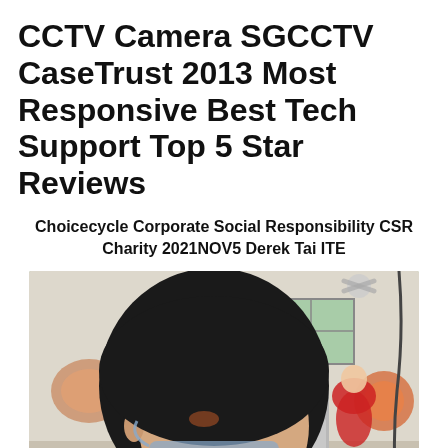CCTV Camera SGCCTV CaseTrust 2013 Most Responsive Best Tech Support Top 5 Star Reviews
Choicecycle Corporate Social Responsibility CSR Charity 2021NOV5 Derek Tai ITE
[Figure (photo): A young man wearing a black t-shirt and a blue face mask pulled down below his nose, looking downward. He appears to be in an indoor community centre or elderly care setting. Behind him are colourful fan decorations on the wall, a refrigerator, an EXIT sign, a window, and a woman in a red shirt standing in the background.]